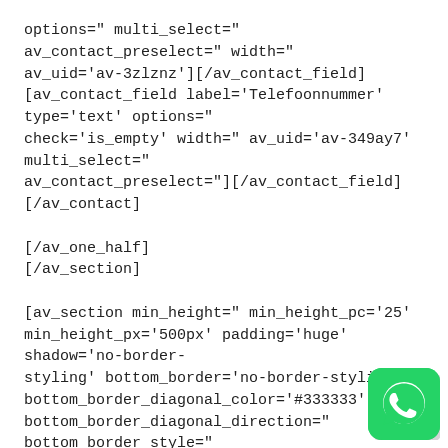options=" multi_select=" av_contact_preselect=" width="
av_uid='av-3zlznz'][/av_contact_field]
[av_contact_field label='Telefoonnummer' type='text' options="
check='is_empty' width=" av_uid='av-349ay7' multi_select="
av_contact_preselect="][/av_contact_field]
[/av_contact]

[/av_one_half]
[/av_section]

[av_section min_height=" min_height_pc='25'
min_height_px='500px' padding='huge' shadow='no-border-
styling' bottom_border='no-border-styling'
bottom_border_diagonal_color='#333333'
bottom_border_diagonal_direction=" bottom_border_style="
custom_margin='0px' custom_margin_sync='true'
custom_arrow_bg=" id=" color='main_color'
background='bg_color' custom_bg='#ff6600'
[Figure (logo): WhatsApp logo icon — green rounded square with white phone handset]